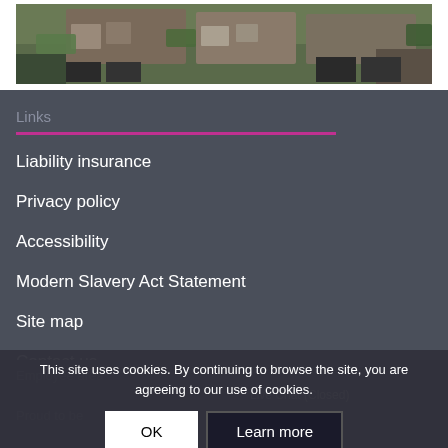[Figure (photo): Exterior photo of residential buildings with green trees and garages]
Links
Liability insurance
Privacy policy
Accessibility
Modern Slavery Act Statement
Site map
Contact us
Employee area
Live Chat (Closed)
Proud to be
This site uses cookies. By continuing to browse the site, you are agreeing to our use of cookies.
OK
Learn more